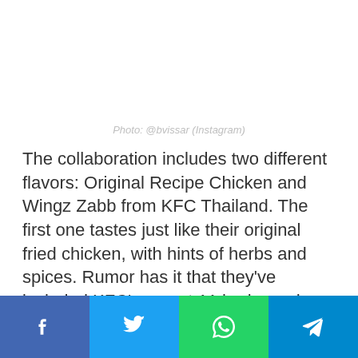Photo: @bvissar (Instagram)
The collaboration includes two different flavors: Original Recipe Chicken and Wingz Zabb from KFC Thailand. The first one tastes just like their original fried chicken, with hints of herbs and spices. Rumor has it that they've included KFC's secret 11 herbs and spices into the chips!
[Figure (infographic): Social sharing bar with Facebook, Twitter, WhatsApp, and Telegram buttons]